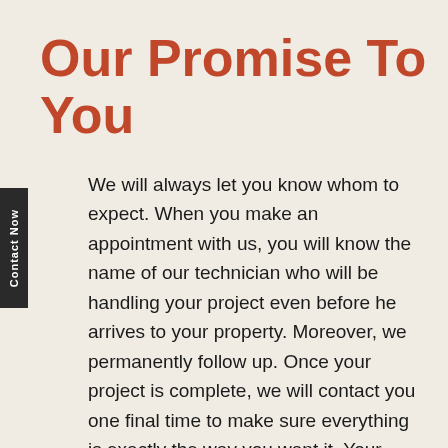Our Promise To You
We will always let you know whom to expect. When you make an appointment with us, you will know the name of our technician who will be handling your project even before he arrives to your property. Moreover, we permanently follow up. Once your project is complete, we will contact you one final time to make sure everything is exactly the way you want it. Your satisfaction is our number one priority!
No job is too big or too small.  If you are not satisfied, the job is not done!  We guarantee your satisfaction and we will work until you are happy with the finished product. Read our testimonials to see what our satisfied customers